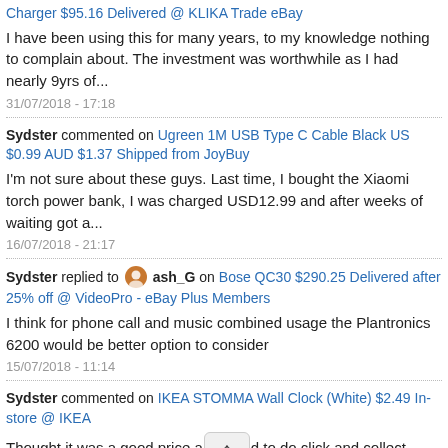Charger $95.16 Delivered @ KLIKA Trade eBay
I have been using this for many years, to my knowledge nothing to complain about. The investment was worthwhile as I had nearly 9yrs of...
31/07/2018 - 17:18
Sydster commented on Ugreen 1M USB Type C Cable Black US $0.99 AUD $1.37 Shipped from JoyBuy
I'm not sure about these guys. Last time, I bought the Xiaomi torch power bank, I was charged USD12.99 and after weeks of waiting got a...
16/07/2018 - 21:17
Sydster replied to ash_G on Bose QC30 $290.25 Delivered after 25% off @ VideoPro - eBay Plus Members
I think for phone call and music combined usage the Plantronics 6200 would be better option to consider
15/07/2018 - 11:14
Sydster commented on IKEA STOMMA Wall Clock (White) $2.49 In-store @ IKEA
Thought it was a good price and to do click and collect... IKEA wants a service fee of $4... Is this normal?